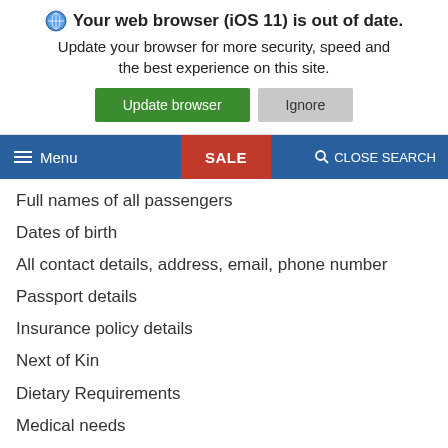Your web browser (iOS 11) is out of date. Update your browser for more security, speed and the best experience on this site. [Update browser] [Ignore]
[Figure (screenshot): Website navigation bar with hamburger menu icon and Menu label on blue background, SALE label on red background, and CLOSE SEARCH with magnifier icon on blue background]
Full names of all passengers
Dates of birth
All contact details, address, email, phone number
Passport details
Insurance policy details
Next of Kin
Dietary Requirements
Medical needs
The holiday company providers may require further information for them to fulfil the travel arrangements that we have made through them on your behalf
We will continue to contact you and keep you up to date about